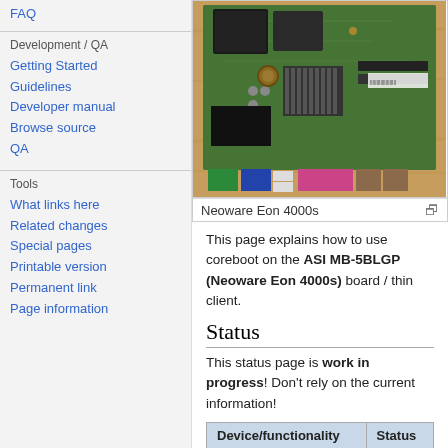FAQ
Development / QA
Getting Started
Guidelines
Developer manual
Browse source
QA
Tools
What links here
Related changes
Special pages
Printable version
Permanent link
Page information
[Figure (photo): Photo of Neoware Eon 4000s motherboard/thin client on a wooden surface, showing the green PCB with various chips, connectors, and ports including VGA, USB, and parallel ports]
Neoware Eon 4000s
This page explains how to use coreboot on the ASI MB-5BLGP (Neoware Eon 4000s) board / thin client.
Status
This status page is work in progress! Don't rely on the current information!
| Device/functionality | Status |
| --- | --- |